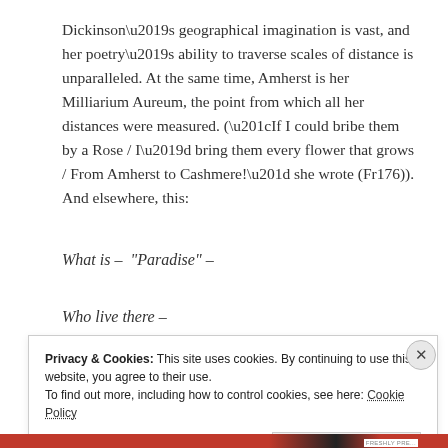Dickinson’s geographical imagination is vast, and her poetry’s ability to traverse scales of distance is unparalleled. At the same time, Amherst is her Milliarium Aureum, the point from which all her distances were measured. (“If I could bribe them by a Rose / I’d bring them every flower that grows / From Amherst to Cashmere!” she wrote (Fr176)). And elsewhere, this:
What is –  “Paradise” –
Who live there –
Privacy & Cookies: This site uses cookies. By continuing to use this website, you agree to their use. To find out more, including how to control cookies, see here: Cookie Policy
Close and accept